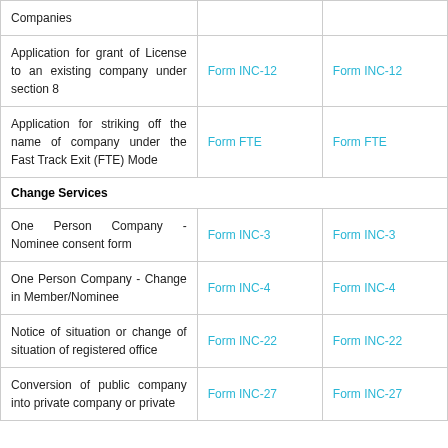| Service Description | Form (New) | Form (Old) |
| --- | --- | --- |
| Companies |  |  |
| Application for grant of License to an existing company under section 8 | Form INC-12 | Form INC-12 |
| Application for striking off the name of company under the Fast Track Exit (FTE) Mode | Form FTE | Form FTE |
| Change Services |  |  |
| One Person Company - Nominee consent form | Form INC-3 | Form INC-3 |
| One Person Company - Change in Member/Nominee | Form INC-4 | Form INC-4 |
| Notice of situation or change of situation of registered office | Form INC-22 | Form INC-22 |
| Conversion of public company into private company or private | Form INC-27 | Form INC-27 |